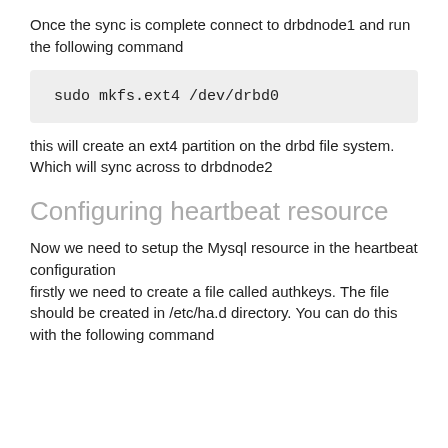Once the sync is complete connect to drbdnode1 and run the following command
[Figure (screenshot): Code block showing: sudo mkfs.ext4 /dev/drbd0]
this will create an ext4 partition on the drbd file system. Which will sync across to drbdnode2
Configuring heartbeat resource
Now we need to setup the Mysql resource in the heartbeat configuration
firstly we need to create a file called authkeys. The file should be created in /etc/ha.d directory. You can do this with the following command